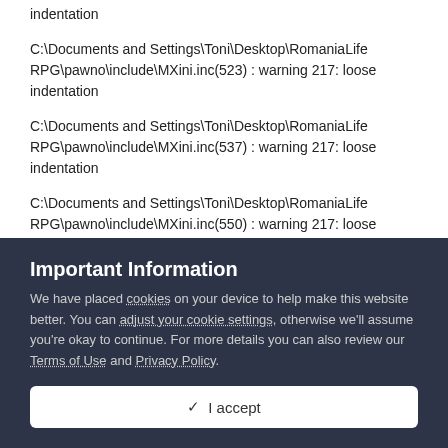indentation
C:\Documents and Settings\Toni\Desktop\RomaniaLife RPG\pawno\include\MXini.inc(523) : warning 217: loose indentation
C:\Documents and Settings\Toni\Desktop\RomaniaLife RPG\pawno\include\MXini.inc(537) : warning 217: loose indentation
C:\Documents and Settings\Toni\Desktop\RomaniaLife RPG\pawno\include\MXini.inc(550) : warning 217: loose indentation
Important Information
We have placed cookies on your device to help make this website better. You can adjust your cookie settings, otherwise we'll assume you're okay to continue. For more details you can also review our Terms of Use and Privacy Policy.
✓ I accept